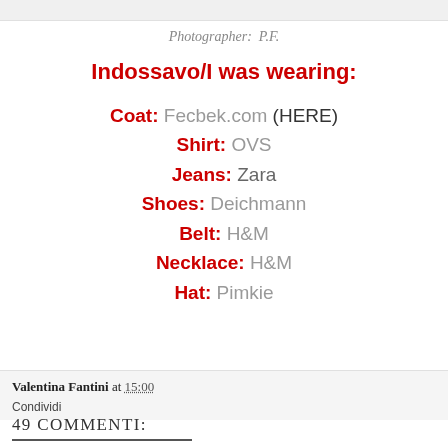Photographer: P.F.
Indossavo/I was wearing:
Coat: Fecbek.com (HERE)
Shirt: OVS
Jeans: Zara
Shoes: Deichmann
Belt: H&M
Necklace: H&M
Hat: Pimkie
Valentina Fantini at 15:00
Condividi
49 COMMENTI: